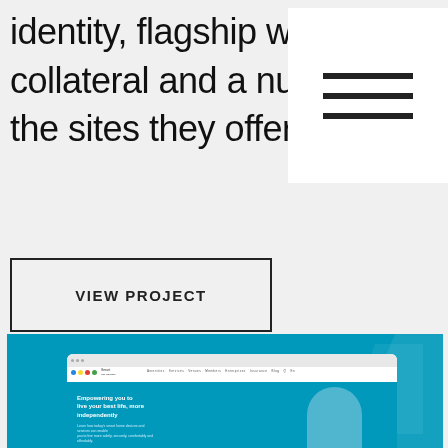identity, flagship website, marketing collateral and a numerous web designs f the sites they offer their clients.
[Figure (illustration): Hamburger menu icon — three horizontal black lines on white background square]
VIEW PROJECT
[Figure (screenshot): Screenshot of a website called Smart Self Reliance showing a teal/blue hero section with text 'Empowering you to live your best life, more independently' and an older woman smiling, displayed in a browser chrome mockup on a teal background]